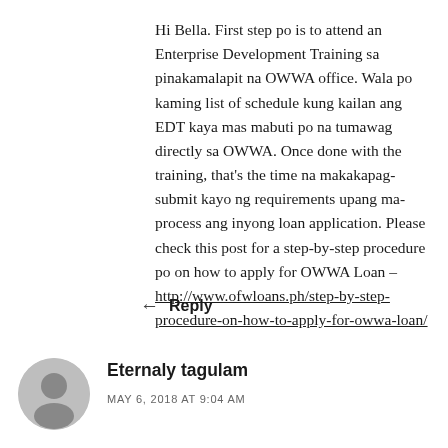Hi Bella. First step po is to attend an Enterprise Development Training sa pinakamalapit na OWWA office. Wala po kaming list of schedule kung kailan ang EDT kaya mas mabuti po na tumawag directly sa OWWA. Once done with the training, that's the time na makakapag-submit kayo ng requirements upang ma-process ang inyong loan application. Please check this post for a step-by-step procedure po on how to apply for OWWA Loan – http://www.ofwloans.ph/step-by-step-procedure-on-how-to-apply-for-owwa-loan/
Reply
[Figure (illustration): Gray circular avatar placeholder image for user Eternaly tagulam]
Eternaly tagulam
MAY 6, 2018 AT 9:04 AM